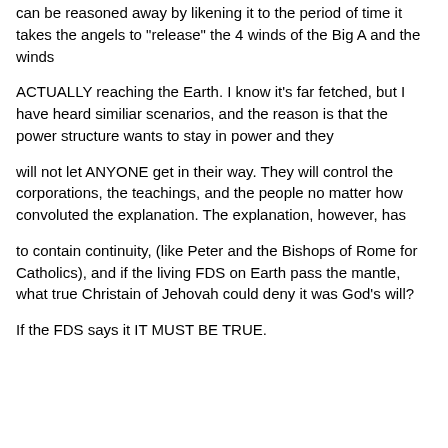can be reasoned away by likening it to the period of time it takes the angels to "release" the 4 winds of the Big A and the winds
ACTUALLY reaching the Earth. I know it's far fetched, but I have heard similiar scenarios, and the reason is that the power structure wants to stay in power and they
will not let ANYONE get in their way. They will control the corporations, the teachings, and the people no matter how convoluted the explanation. The explanation, however, has
to contain continuity, (like Peter and the Bishops of Rome for Catholics), and if the living FDS on Earth pass the mantle, what true Christain of Jehovah could deny it was God's will?
If the FDS says it IT MUST BE TRUE.